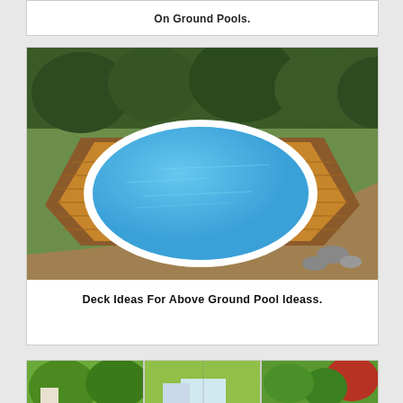On Ground Pools.
[Figure (photo): Aerial view of an above-ground oval pool with white coping surrounded by a wooden deck, set in a backyard with trees and dirt in the background.]
Deck Ideas For Above Ground Pool Ideass.
[Figure (photo): Partial view of outdoor landscaping photos showing green trees, houses, and red flowers, cut off at bottom of page.]